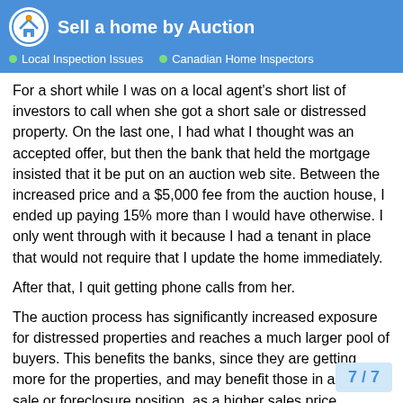Sell a home by Auction | Local Inspection Issues | Canadian Home Inspectors
For a short while I was on a local agent's short list of investors to call when she got a short sale or distressed property. On the last one, I had what I thought was an accepted offer, but then the bank that held the mortgage insisted that it be put on an auction web site. Between the increased price and a $5,000 fee from the auction house, I ended up paying 15% more than I would have otherwise. I only went through with it because I had a tenant in place that would not require that I update the home immediately.
After that, I quit getting phone calls from her.
The auction process has significantly increased exposure for distressed properties and reaches a much larger pool of buyers. This benefits the banks, since they are getting more for the properties, and may benefit those in a short-sale or foreclosure position, as a higher sales price mitigates the banks loss, thus reduces tax burden on the mortgagee since the IRS taxes the bank's loss as t
7 / 7